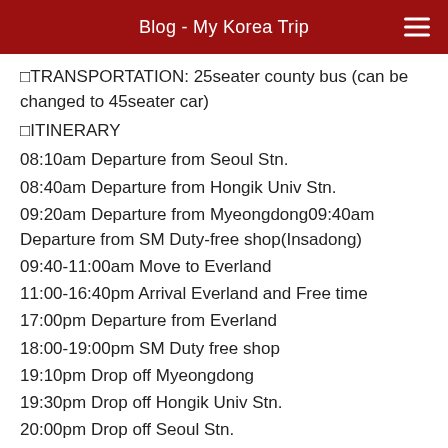Blog - My Korea Trip
🔲TRANSPORTATION: 25seater county bus (can be changed to 45seater car)
🔲ITINERARY
08:10am Departure from Seoul Stn.
08:40am Departure from Hongik Univ Stn.
09:20am Departure from Myeongdong09:40am Departure from SM Duty-free shop(Insadong)
09:40-11:00am Move to Everland
11:00-16:40pm Arrival Everland and Free time
17:00pm Departure from Everland
18:00-19:00pm SM Duty free shop
19:10pm Drop off Myeongdong
19:30pm Drop off Hongik Univ Stn.
20:00pm Drop off Seoul Stn.